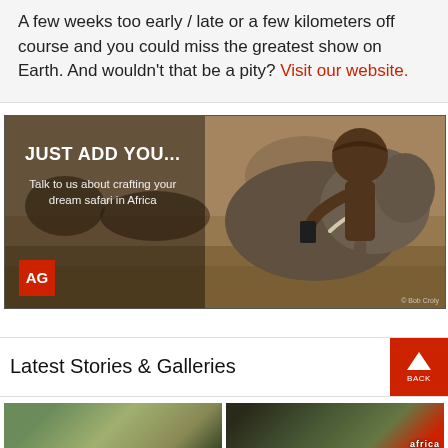A few weeks too early / late or a few kilometers off course and you could miss the greatest show on Earth. And wouldn't that be a pity? Visit our website.
[Figure (photo): Advertisement banner showing a person photographing an elephant on safari in Africa. Text reads 'JUST ADD YOU... Talk to us about crafting your dream safari in Africa'. AG logo in bottom left corner.]
Latest Stories & Galleries
[Figure (photo): Thumbnail image of an African landscape scene]
[Figure (photo): Thumbnail image with Africa Geographic logo overlay]